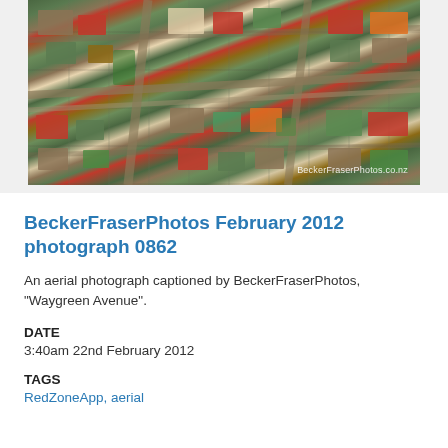[Figure (photo): Aerial photograph of a suburban residential area captioned 'Waygreen Avenue', taken by BeckerFraserPhotos. Shows streets, houses with coloured roofs, and intersections from above. Watermark reads 'BeckerFraserPhotos.co.nz'.]
BeckerFraserPhotos February 2012 photograph 0862
An aerial photograph captioned by BeckerFraserPhotos, "Waygreen Avenue".
DATE
3:40am 22nd February 2012
TAGS
RedZoneApp, aerial